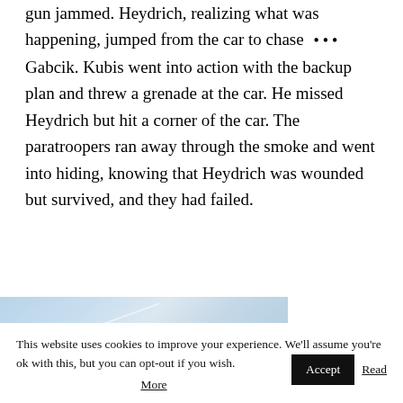gun jammed. Heydrich, realizing what was happening, jumped from the car to chase ••• Gabcik. Kubis went into action with the backup plan and threw a grenade at the car. He missed Heydrich but hit a corner of the car. The paratroopers ran away through the smoke and went into hiding, knowing that Heydrich was wounded but survived, and they had failed.
[Figure (photo): Partial view of a blue-tinted historical photograph, cropped at bottom of visible content area]
This website uses cookies to improve your experience. We'll assume you're ok with this, but you can opt-out if you wish. Accept Read More